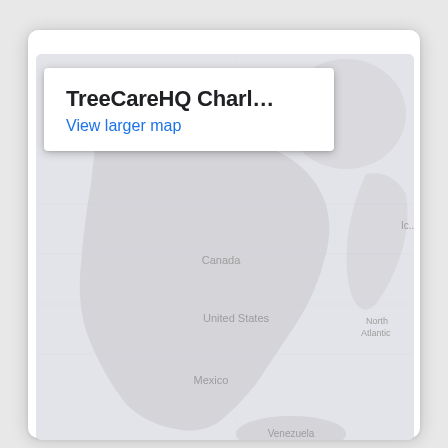[Figure (map): A Google Maps screenshot showing a wide-angle map of North America with Canada, United States, Mexico, and Venezuela visible. Also shows Greenland in the upper right. A popup info card overlays the top-left of the map showing 'TreeCareHQ Charl...' and 'View larger map' link.]